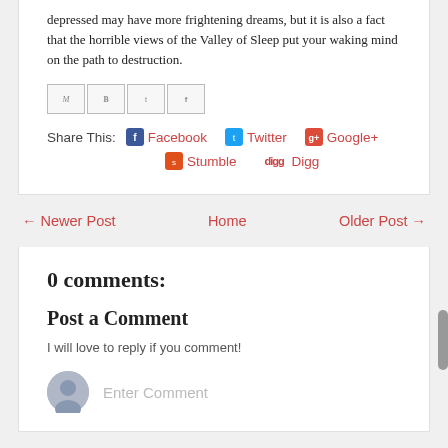depressed may have more frightening dreams, but it is also a fact that the horrible views of the Valley of Sleep put your waking mind on the path to destruction.
[Figure (infographic): Social sharing icon buttons: email (M), Blogger (B), Twitter bird, Facebook (f)]
Share This: Facebook  Twitter  Google+  Stumble  Digg
← Newer Post   Home   Older Post →
0 comments:
Post a Comment
I will love to reply if you comment!
Enter Comment